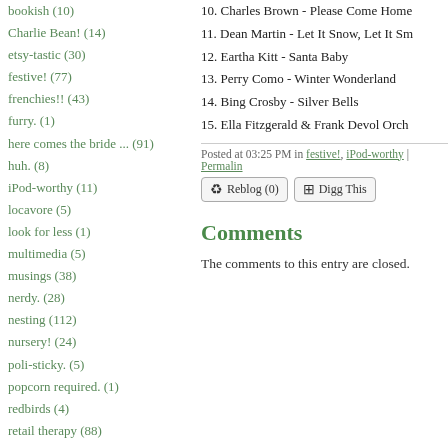bookish (10)
Charlie Bean! (14)
etsy-tastic (30)
festive! (77)
frenchies!! (43)
furry. (1)
here comes the bride ... (91)
huh. (8)
iPod-worthy (11)
locavore (5)
look for less (1)
multimedia (5)
musings (38)
nerdy. (28)
nesting (112)
nursery! (24)
poli-sticky. (5)
popcorn required. (1)
redbirds (4)
retail therapy (88)
special delivery! (27)
sporting (2)
the usual. (5)
TiVo-worthy. (2)
wanderlust (12)
yum. (26)
~stylish~ (138)
10. Charles Brown - Please Come Home
11. Dean Martin - Let It Snow, Let It Sm
12. Eartha Kitt - Santa Baby
13. Perry Como - Winter Wonderland
14. Bing Crosby - Silver Bells
15. Ella Fitzgerald & Frank Devol Orch
Posted at 03:25 PM in festive!, iPod-worthy | Permalin
Comments
The comments to this entry are closed.